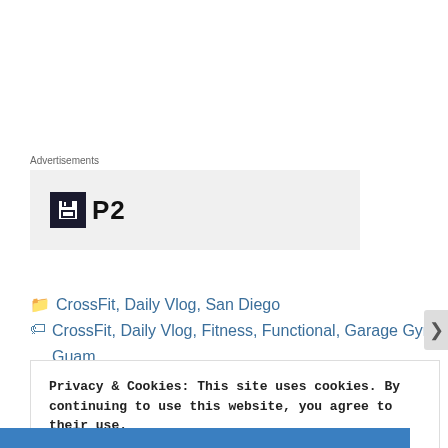Advertisements
[Figure (logo): Advertisement box with floppy disk icon and 'P2' text logo on grey background]
CrossFit, Daily Vlog, San Diego
CrossFit, Daily Vlog, Fitness, Functional, Garage Gym, Guam, Home Workout, San Diego, Squats, Vlog, Vlogger, Vlogging, WOD,
Privacy & Cookies: This site uses cookies. By continuing to use this website, you agree to their use.
To find out more, including how to control cookies, see here: Cookie Policy
Close and accept